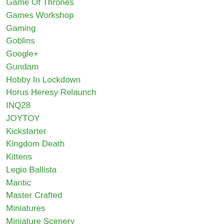Game Of Thrones
Games Workshop
Gaming
Goblins
Google+
Gundam
Hobby In Lockdown
Horus Heresy Relaunch
INQ28
JOYTOY
Kickstarter
Kingdom Death
Kittens
Legio Ballista
Mantic
Master Crafted
Miniatures
Miniature Scenery
Movember
Necromunda
Nerf